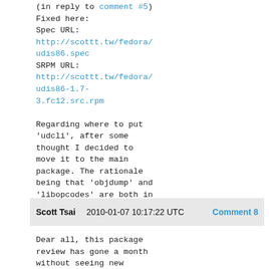(in reply to comment #5)
Fixed here:
Spec URL:
http://scottt.tw/fedora/udis86.spec
SRPM URL:
http://scottt.tw/fedora/udis86-1.7-3.fc12.src.rpm

Regarding where to put 'udcli', after some thought I decided to move it to the main package. The rationale being that 'objdump' and 'libopcodes' are both in binutils.
Scott Tsai    2010-01-07 10:17:22 UTC    Comment 8
Dear all, this package review has gone a month without seeing new comments.
Am I correct to assume that the RPM packaging